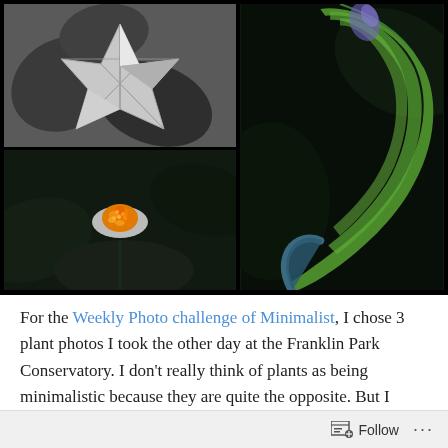[Figure (photo): Three plant photos arranged in a grid: top-left is a black-and-white close-up of a leaf, bottom-left is a dark photo of a small flower with orange center and white petals, right side is a large dark photo of a green calla lily or similar plant leaf curving elegantly.]
For the Weekly Photo challenge of Minimalist, I chose 3 plant photos I took the other day at the Franklin Park Conservatory. I don't really think of plants as being minimalistic because they are quite the opposite. But I
Follow ...